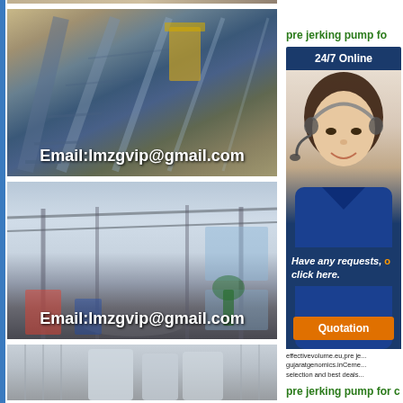[Figure (photo): Partial top strip image of industrial conveyor]
[Figure (photo): Aerial view of outdoor industrial conveyor belt system with email overlay: Email:lmzgvip@gmail.com]
[Figure (photo): Interior of large industrial factory hall with machinery and Email:lmzgvip@gmail.com overlay]
[Figure (photo): Partial view of industrial storage tanks building]
pre jerking pump fo
[Figure (infographic): 24/7 Online chat widget with customer service agent wearing headset, Have any requests click here text, Quotation button]
effectivevolume.eu,pre je... gujaratgenomics.inCeme... selection and best deals...
pre jerking pump for c